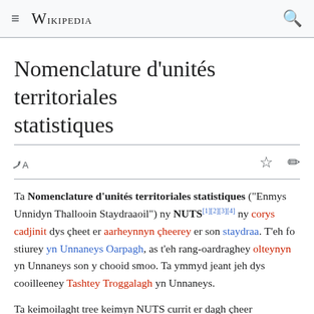≡ WIKIPEDIA 🔍
Nomenclature d'unités territoriales statistiques
Ta Nomenclature d'unités territoriales statistiques ("Enmys Unnidyn Thallooin Staydraaoil") ny NUTS[1][2][3][4] ny corys cadjinit dys çheet er aarheynnyn çheerey er son staydraa. T'eh fo stiurey yn Unnaneys Oarpagh, as t'eh rang-oardraghey olteynyn yn Unnaneys son y chooid smoo. Ta ymmyd jeant jeh dys cooilleeney Tashtey Troggalagh yn Unnaneys.
Ta keimoilaght tree keimyn NUTS currit er dagh çheer